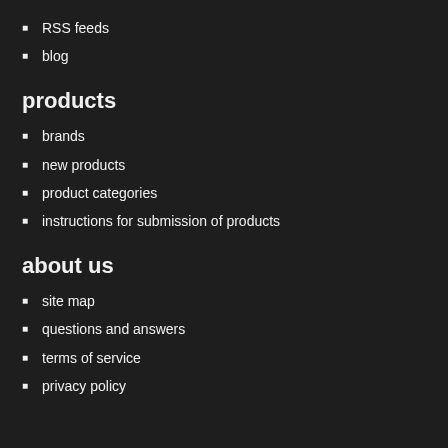RSS feeds
blog
products
brands
new products
product categories
instructions for submission of products
about us
site map
questions and answers
terms of service
privacy policy